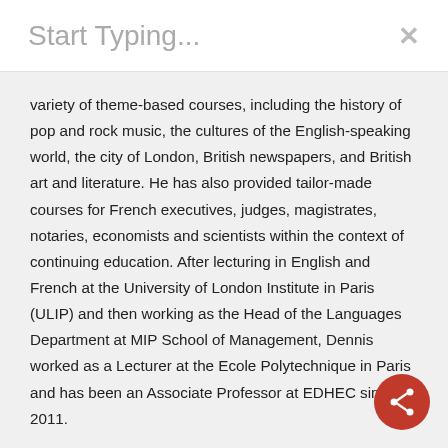Start Typing...
variety of theme-based courses, including the history of pop and rock music, the cultures of the English-speaking world, the city of London, British newspapers, and British art and literature. He has also provided tailor-made courses for French executives, judges, magistrates, notaries, economists and scientists within the context of continuing education. After lecturing in English and French at the University of London Institute in Paris (ULIP) and then working as the Head of the Languages Department at MIP School of Management, Dennis worked as a Lecturer at the Ecole Polytechnique in Paris and has been an Associate Professor at EDHEC since 2011.
[Figure (other): Red circular share button with network/share icon in white, positioned bottom-right corner]